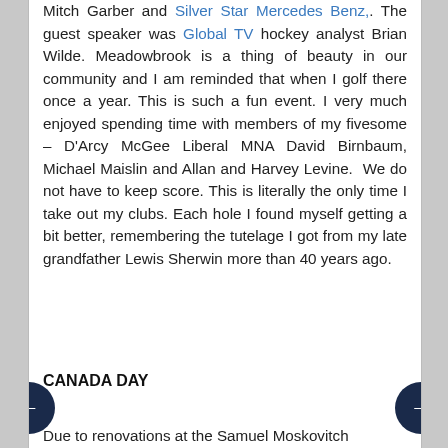Mitch Garber and Silver Star Mercedes Benz,. The guest speaker was Global TV hockey analyst Brian Wilde. Meadowbrook is a thing of beauty in our community and I am reminded that when I golf there once a year. This is such a fun event. I very much enjoyed spending time with members of my fivesome – D'Arcy McGee Liberal MNA David Birnbaum, Michael Maislin and Allan and Harvey Levine.  We do not have to keep score. This is literally the only time I take out my clubs. Each hole I found myself getting a bit better, remembering the tutelage I got from my late grandfather Lewis Sherwin more than 40 years ago.
CANADA DAY
Due to renovations at the Samuel Moskovitch